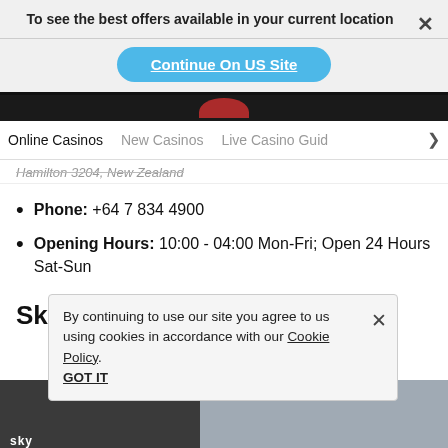To see the best offers available in your current location
Continue On US Site
Online Casinos   New Casinos   Live Casino Guid >
Hamilton 3204, New Zealand
Phone: +64 7 834 4900
Opening Hours: 10:00 - 04:00 Mon-Fri; Open 24 Hours Sat-Sun
SkyCity Casino Queenstown
By continuing to use our site you agree to us using cookies in accordance with our Cookie Policy. GOT IT